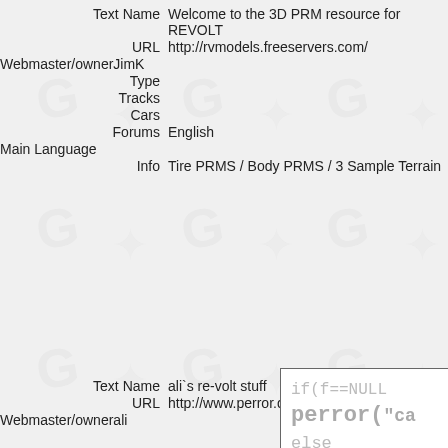Text Name   Welcome to the 3D PRM resource for REVOLT
URL   http://rvmodels.freeservers.com/
Webmaster/owner   JimK
Type
Tracks
Cars
Forums   English
Main Language
Info   Tire PRMS / Body PRMS / 3 Sample Terrain
[Figure (screenshot): Code snippet box showing partial C code: if(f==NULL), perror("ca, else]
Text Name   ali`s re-volt stuff
URL   http://www.perror.de/rv/
Webmaster/owner   ali